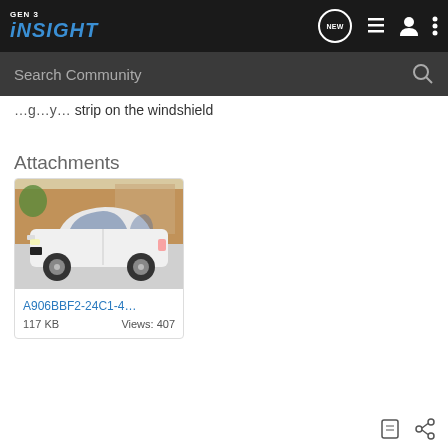GEN 3 INSIGHT
strip on the windshield
Attachments
[Figure (photo): White Honda Insight sedan parked in a driveway with a wooden fence and house in the background. The car is viewed from the passenger side.]
A906BBF2-24C1-4...
117 KB   Views: 407